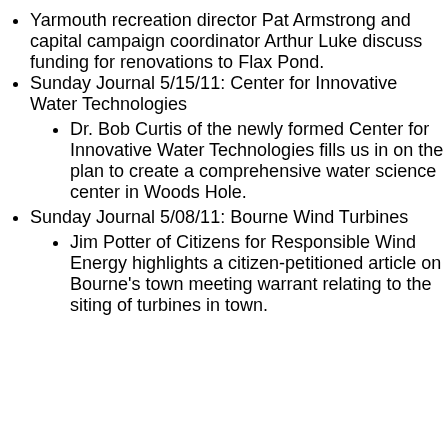Yarmouth recreation director Pat Armstrong and capital campaign coordinator Arthur Luke discuss funding for renovations to Flax Pond.
Sunday Journal 5/15/11: Center for Innovative Water Technologies
Dr. Bob Curtis of the newly formed Center for Innovative Water Technologies fills us in on the plan to create a comprehensive water science center in Woods Hole.
Sunday Journal 5/08/11: Bourne Wind Turbines
Jim Potter of Citizens for Responsible Wind Energy highlights a citizen-petitioned article on Bourne's town meeting warrant relating to the siting of turbines in town.